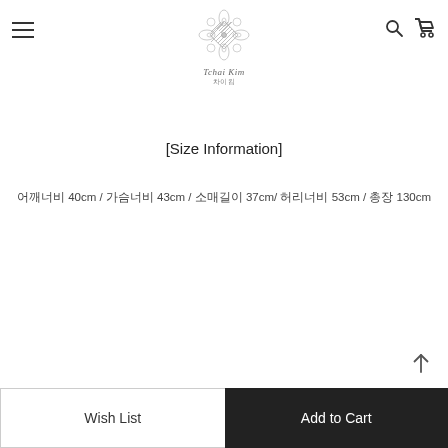Tchai Kim logo with hamburger menu, search and cart icons
[Size Information]
어깨너비 40cm / 가슴너비 43cm / 소매길이 37cm/ 허리너비 53cm / 총장 130cm
Wish List | Add to Cart